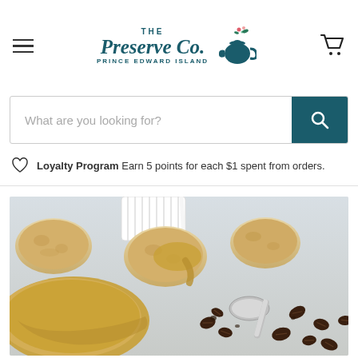The Preserve Co. Prince Edward Island
What are you looking for?
Loyalty Program Earn 5 points for each $1 spent from orders.
[Figure (photo): Close-up photo of cookies with coffee glaze/icing on a white surface, with coffee beans scattered around and a metal measuring spoon, alongside a white ceramic container in the background.]